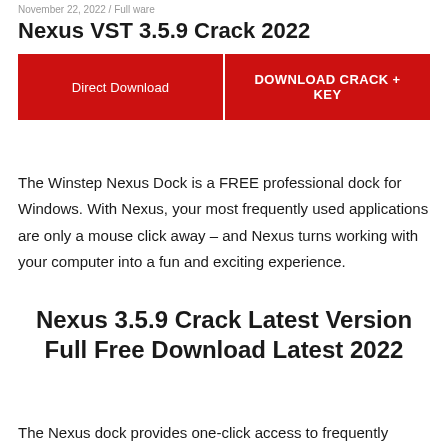November 22, 2022 / Full ware
Nexus VST 3.5.9 Crack 2022
[Figure (other): Two red download buttons side by side: 'Direct Download' and 'DOWNLOAD CRACK + KEY']
The Winstep Nexus Dock is a FREE professional dock for Windows. With Nexus, your most frequently used applications are only a mouse click away – and Nexus turns working with your computer into a fun and exciting experience.
Nexus 3.5.9 Crack Latest Version Full Free Download Latest 2022
The Nexus dock provides one-click access to frequently